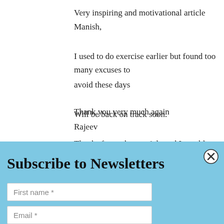Very inspiring and motivational article Manish,

I used to do exercise earlier but found too many excuses to avoid these days

Will be back on track soon.

Thanks for such an article and I would recommend this to all my friends
Thank you very much again

Rajeev
Subscribe to Newsletters
First name *
Email *